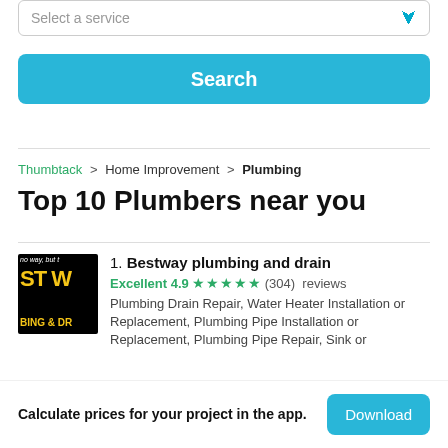[Figure (screenshot): Dropdown input with placeholder 'Select a service' and a blue chevron/arrow icon on the right]
[Figure (screenshot): Blue 'Search' button with rounded corners]
Thumbtack > Home Improvement > Plumbing
Top 10 Plumbers near you
[Figure (logo): Bestway plumbing and drain logo: black background with gold/yellow text 'ST W' and 'BING & DR', small italic text 'no way, but t' at top]
1. Bestway plumbing and drain
Excellent 4.9 ★★★★★ (304) reviews
Plumbing Drain Repair, Water Heater Installation or Replacement, Plumbing Pipe Installation or Replacement, Plumbing Pipe Repair, Sink or
Calculate prices for your project in the app.
[Figure (screenshot): Blue 'Download' button]